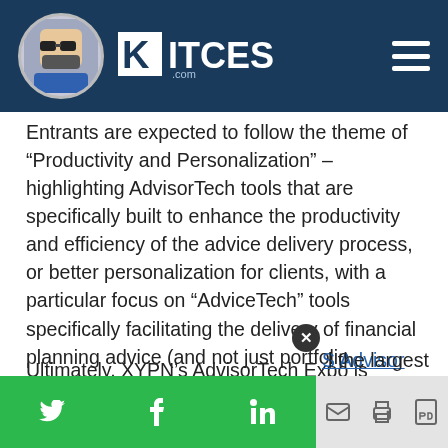KITCES.com
Entrants are expected to follow the theme of “Productivity and Personalization” – highlighting AdvisorTech tools that are specifically built to enhance the productivity and efficiency of the advice delivery process, or better personalization for clients, with a particular focus on “AdviceTech” tools specifically facilitating the delivery of financial planning advice (and not just portfolio management services).
Ultimately, XYPN’s AdvisorTech Expo is narrower
S Advisor
l the largest